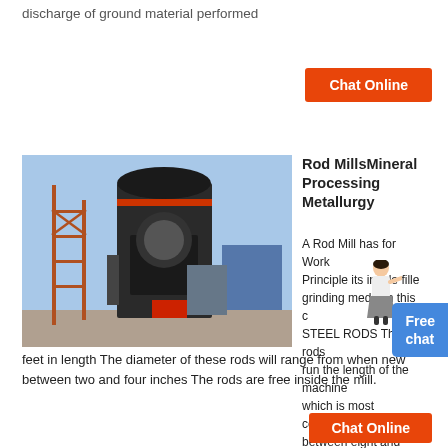discharge of ground material performed
[Figure (photo): Industrial rod mill machine, large cylindrical black metal tower with scaffolding, photographed outdoors]
Rod MillsMineral Processing Metallurgy
A Rod Mill has for Working Principle its inside filled grinding media in this case STEEL RODS These rods run the length of the machine which is most commonly between eight and sixteen feet in length The diameter of these rods will range from when new between two and four inches The rods are free inside the mill.
[Figure (photo): Industrial grinding mill interior or facility with tanks and yellow structures]
Grinding Mills Types Working Principle